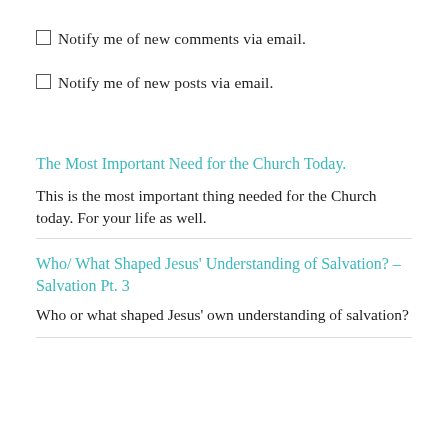Notify me of new comments via email.
Notify me of new posts via email.
The Most Important Need for the Church Today.
This is the most important thing needed for the Church today. For your life as well.
Who/ What Shaped Jesus' Understanding of Salvation? – Salvation Pt. 3
Who or what shaped Jesus' own understanding of salvation?